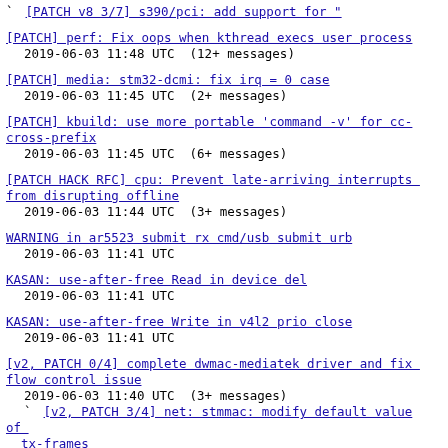`  [PATCH v8 3/7] s390/pci: add support for "
[PATCH] perf: Fix oops when kthread execs user process
  2019-06-03 11:48 UTC  (12+ messages)
[PATCH] media: stm32-dcmi: fix irq = 0 case
  2019-06-03 11:45 UTC  (2+ messages)
[PATCH] kbuild: use more portable 'command -v' for cc-cross-prefix
  2019-06-03 11:45 UTC  (6+ messages)
[PATCH HACK RFC] cpu: Prevent late-arriving interrupts from disrupting offline
  2019-06-03 11:44 UTC  (3+ messages)
WARNING in ar5523 submit rx cmd/usb submit urb
  2019-06-03 11:41 UTC
KASAN: use-after-free Read in device del
  2019-06-03 11:41 UTC
KASAN: use-after-free Write in v4l2 prio close
  2019-06-03 11:41 UTC
[v2, PATCH 0/4] complete dwmac-mediatek driver and fix flow control issue
  2019-06-03 11:40 UTC  (3+ messages)
`  [v2, PATCH 3/4] net: stmmac: modify default value of tx-frames